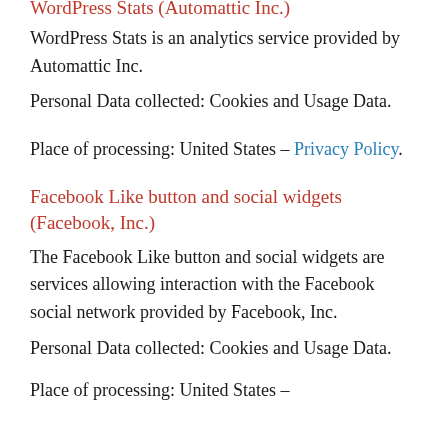WordPress Stats (Automattic Inc.)
WordPress Stats is an analytics service provided by Automattic Inc.
Personal Data collected: Cookies and Usage Data.
Place of processing: United States – Privacy Policy.
Facebook Like button and social widgets (Facebook, Inc.)
The Facebook Like button and social widgets are services allowing interaction with the Facebook social network provided by Facebook, Inc.
Personal Data collected: Cookies and Usage Data.
Place of processing: United States –